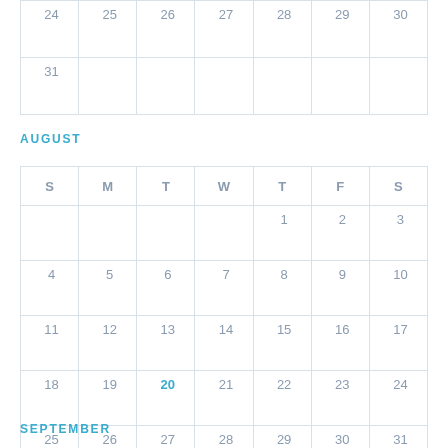| S | M | T | W | T | F | S |
| --- | --- | --- | --- | --- | --- | --- |
| 24 | 25 | 26 | 27 | 28 | 29 | 30 |
| 31 |  |  |  |  |  |  |
AUGUST
| S | M | T | W | T | F | S |
| --- | --- | --- | --- | --- | --- | --- |
|  |  |  |  | 1 | 2 | 3 |
| 4 | 5 | 6 | 7 | 8 | 9 | 10 |
| 11 | 12 | 13 | 14 | 15 | 16 | 17 |
| 18 | 19 | 20 | 21 | 22 | 23 | 24 |
| 25 | 26 | 27 | 28 | 29 | 30 | 31 |
SEPTEMBER